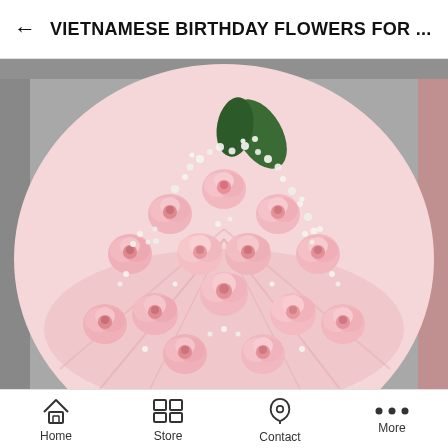← VIETNAMESE BIRTHDAY FLOWERS FOR ...
[Figure (photo): A large bouquet of soft pink roses mixed with white baby's breath flowers, wrapped in light pink packaging, photographed from above.]
Home  Store  Contact  More